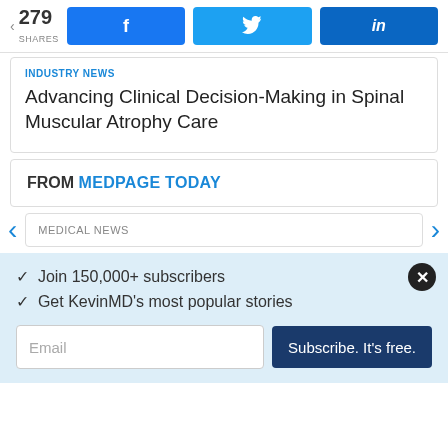279 SHARES | Facebook | Twitter | LinkedIn
INDUSTRY NEWS
Advancing Clinical Decision-Making in Spinal Muscular Atrophy Care
FROM MEDPAGE TODAY
MEDICAL NEWS
Join 150,000+ subscribers
Get KevinMD's most popular stories
Email | Subscribe. It's free.